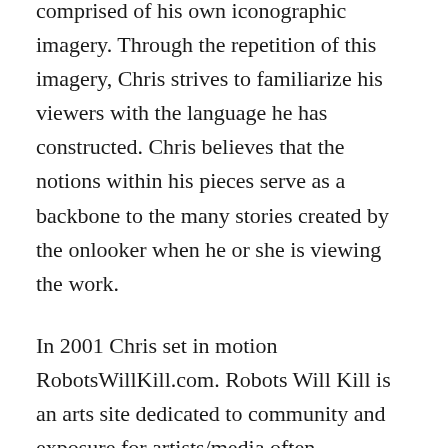comprised of his own iconographic imagery. Through the repetition of this imagery, Chris strives to familiarize his viewers with the language he has constructed. Chris believes that the notions within his pieces serve as a backbone to the many stories created by the onlooker when he or she is viewing the work.
In 2001 Chris set in motion RobotsWillKill.com. Robots Will Kill is an arts site dedicated to community and exposure for artists/media often disregarded by the mainstream art world. Rather than featuring his own work exclusively, he opened it up to allow the possibility for it to become whatever it evolved into being. RWK has a core group of artists, those artists are Chris, Kev/Psyn, Veng and Over Under. Along